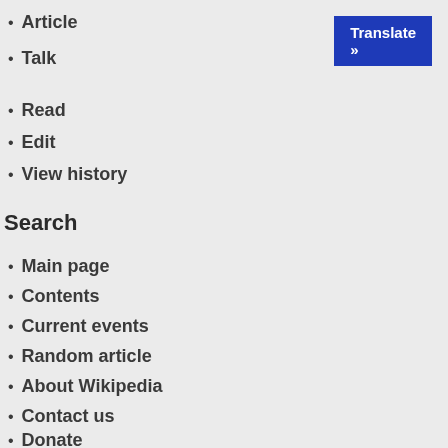Article
Talk
Read
Edit
View history
Search
Main page
Contents
Current events
Random article
About Wikipedia
Contact us
Donate
Contribute
Help
Learn to edit